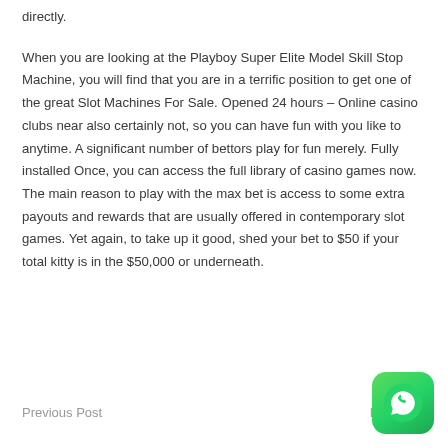directly.
When you are looking at the Playboy Super Elite Model Skill Stop Machine, you will find that you are in a terrific position to get one of the great Slot Machines For Sale. Opened 24 hours – Online casino clubs near also certainly not, so you can have fun with you like to anytime. A significant number of bettors play for fun merely. Fully installed Once, you can access the full library of casino games now. The main reason to play with the max bet is access to some extra payouts and rewards that are usually offered in contemporary slot games. Yet again, to take up it good, shed your bet to $50 if your total kitty is in the $50,000 or underneath.
Previous Post    Next Post